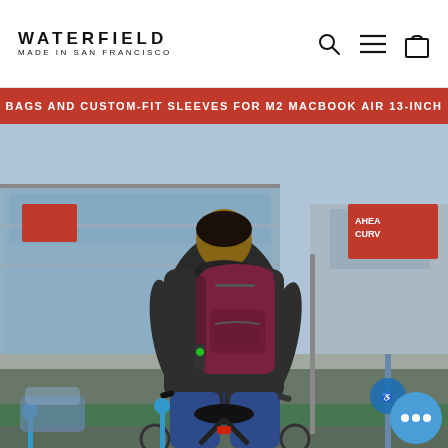WATERFIELD
MADE IN SAN FRANCISCO
BAGS AND CUSTOM-FIT SLEEVES FOR M2 MACBOOK AIR 13-INCH
[Figure (photo): Man riding a bicycle in an urban setting, viewed from behind, wearing a dark jacket and carrying a maroon/burgundy backpack. City buildings with glass facades and red signage visible in the background. A blue circular chat icon is visible in the bottom right corner.]